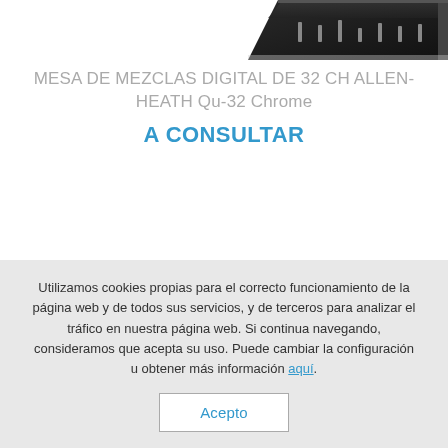[Figure (photo): Partial view of a dark-colored digital mixing console (Allen-Heath Qu-32 Chrome), showing the top-right corner of the unit against a white background.]
MESA DE MEZCLAS DIGITAL DE 32 CH ALLEN-HEATH Qu-32 Chrome
A CONSULTAR
Utilizamos cookies propias para el correcto funcionamiento de la página web y de todos sus servicios, y de terceros para analizar el tráfico en nuestra página web. Si continua navegando, consideramos que acepta su uso. Puede cambiar la configuración u obtener más información aquí.
Acepto